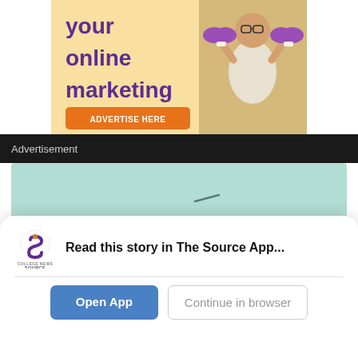[Figure (illustration): Advertisement banner with yellow background showing purple bold text 'your online marketing', an orange 'ADVERTISE HERE' button, and a person holding purple dumbbells]
Advertisement
[Figure (illustration): Green-tinted advertisement banner showing a retro radio illustration]
[Figure (logo): College News Source app logo - circular purple and orange S icon with text COLLEGE NEWS SOURCE below]
Read this story in The Source App...
Open App
Continue in browser